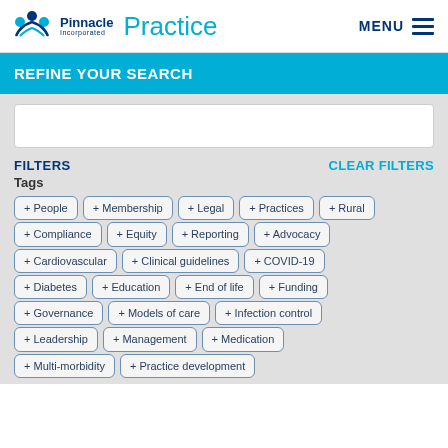Pinnacle Incorporated Practice | MENU
REFINE YOUR SEARCH
FILTERS   CLEAR FILTERS
Tags
+ People
+ Membership
+ Legal
+ Practices
+ Rural
+ Compliance
+ Equity
+ Reporting
+ Advocacy
+ Cardiovascular
+ Clinical guidelines
+ COVID-19
+ Diabetes
+ Education
+ End of life
+ Funding
+ Governance
+ Models of care
+ Infection control
+ Leadership
+ Management
+ Medication
+ Multi-morbidity
+ Practice development